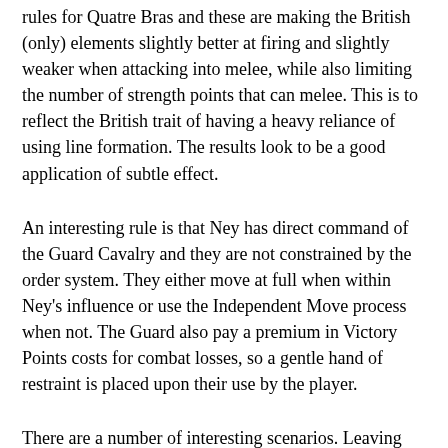rules for Quatre Bras and these are making the British (only) elements slightly better at firing and slightly weaker when attacking into melee, while also limiting the number of strength points that can melee. This is to reflect the British trait of having a heavy reliance of using line formation. The results look to be a good application of subtle effect.
An interesting rule is that Ney has direct command of the Guard Cavalry and they are not constrained by the order system. They either move at full when within Ney's influence or use the Independent Move process when not. The Guard also pay a premium in Victory Points costs for combat losses, so a gentle hand of restraint is placed upon their use by the player.
There are a number of interesting scenarios. Leaving aside the campaign games that unite with the Ligny game, which is something I will explore in another post, we are left with